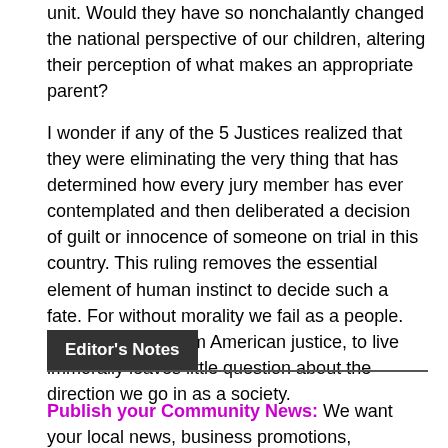unit. Would they have so nonchalantly changed the national perspective of our children, altering their perception of what makes an appropriate parent?
I wonder if any of the 5 Justices realized that they were eliminating the very thing that has determined how every jury member has ever contemplated and then deliberated a decision of guilt or innocence of someone on trial in this country. This ruling removes the essential element of human instinct to decide such a fate. For without morality we fail as a people. Once removed from American justice, to live immorally leaves little question about the direction we go in as a society.
Editor's Notes
Publish your Community News: We want your local news, business promotions, opinions, press releases, etc. Learn